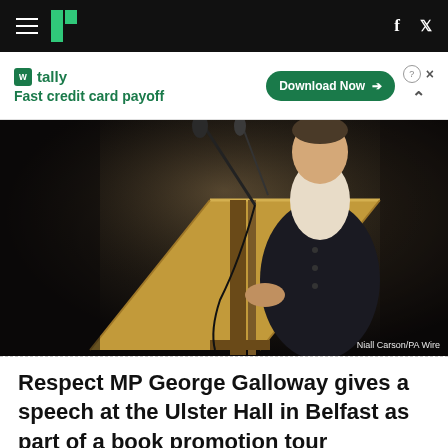HuffPost navigation bar with hamburger menu, logo, Facebook and Twitter icons
[Figure (infographic): Tally app advertisement banner: 'Fast credit card payoff' with Download Now button]
[Figure (photo): Respect MP George Galloway stands at a wooden lectern with microphones, wearing a dark suit and waistcoat, at the Ulster Hall in Belfast. Photo credit: Niall Carson/PA Wire]
Respect MP George Galloway gives a speech at the Ulster Hall in Belfast as part of a book promotion tour